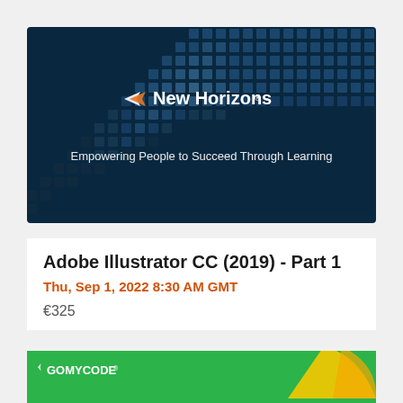[Figure (logo): New Horizons logo and tagline on dark blue grid background. Shows 'New Horizons' text with stylized arrow logo and tagline 'Empowering People to Succeed Through Learning']
Adobe Illustrator CC (2019) - Part 1
Thu, Sep 1, 2022 8:30 AM GMT
€325
[Figure (logo): GOMYCODE logo on green background with yellow geometric shape on right side]